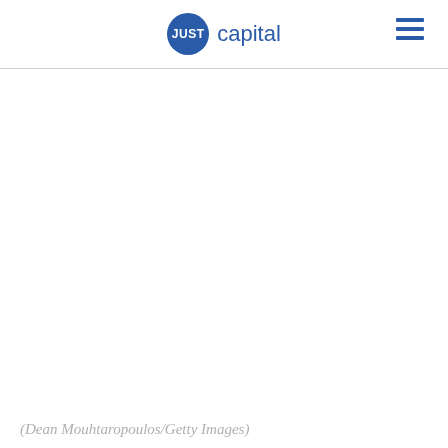JUST capital
[Figure (photo): Large image area (mostly white/blank in this view), JUST Capital website header with logo and hamburger menu. Main content image area below header.]
(Dean Mouhtaropoulos/Getty Images)